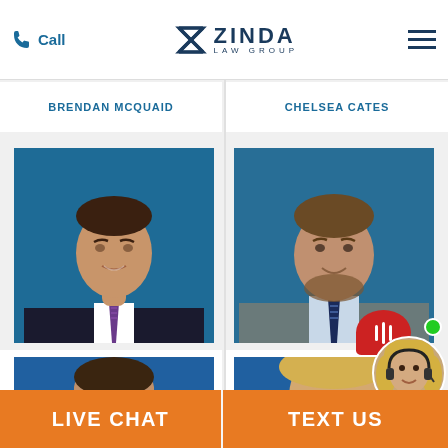Call | Zinda Law Group | (menu)
BRENDAN MCQUAID
CHELSEA CATES
[Figure (photo): Professional headshot of Michael Cupero, male attorney in dark suit with purple striped tie, blue background]
[Figure (photo): Professional headshot of Matt Lig[htfoot?], male attorney in grey suit with blue striped tie, blue background]
MICHAEL CUPERO
MATT LIG...
[Figure (photo): Partial view of another attorney headshot, bottom row left]
[Figure (photo): Partial view of another attorney headshot, bottom row right]
[Figure (other): Live chat widget overlay with red speech bubble icon and female customer service avatar with headset, green online indicator dot]
LIVE CHAT | TEXT US